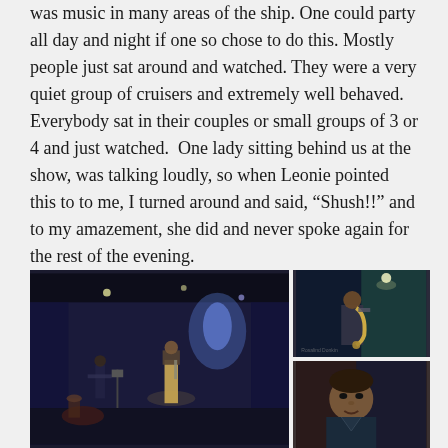was music in many areas of the ship. One could party all day and night if one so chose to do this. Mostly people just sat around and watched. They were a very quiet group of cruisers and extremely well behaved. Everybody sat in their couples or small groups of 3 or 4 and just watched.  One lady sitting behind us at the show, was talking loudly, so when Leonie pointed this to to me, I turned around and said, “Shush!!” and to my amazement, she did and never spoke again for the rest of the evening.
[Figure (photo): Left: A dark performance venue on a cruise ship showing musicians on stage under colored lighting with blue and purple curtains. Right top: A performer playing a saxophone on stage. Right bottom: A close-up of a performer's face.]